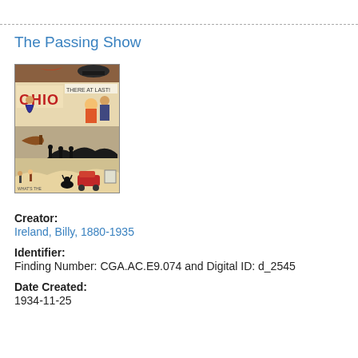The Passing Show
[Figure (illustration): Comic strip page featuring colorful illustrated panels. Visible text includes 'OHIO' and 'THERE AT LAST!' with various cartoon figures, animals, and scenes depicted in multiple panels.]
Creator:
Ireland, Billy, 1880-1935
Identifier:
Finding Number: CGA.AC.E9.074 and Digital ID: d_2545
Date Created:
1934-11-25